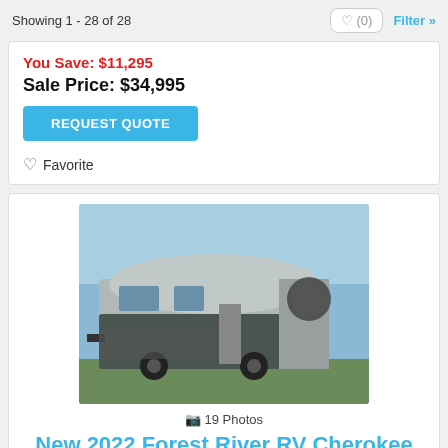Showing 1 - 28 of 28
You Save: $11,295
Sale Price: $34,995
REQUEST QUOTE
Favorite
[Figure (photo): Photo of a Forest River RV Cherokee travel trailer, silver/gray exterior with dark trim, parked outdoors]
19 Photos
New 2022 Forest River RV Cherokee 274BRB
Stock #: NX156584
MSRP: $46,290
You Save: $10,835